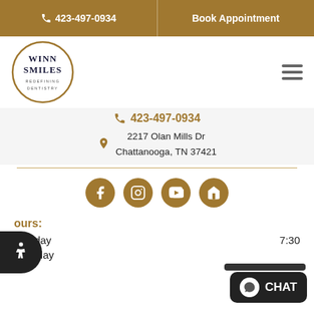📞 423-497-0934 | Book Appointment
[Figure (logo): Winn Smiles Redefining Dentistry circular logo with gold border]
423-497-0934
2217 Olan Mills Dr
Chattanooga, TN 37421
[Figure (infographic): Social media icons: Facebook, Instagram, YouTube, Home]
ours:
Monday	7:30
Tuesday